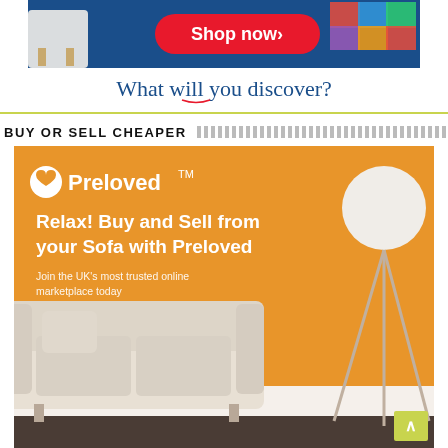[Figure (illustration): Top banner ad with blue background showing 'Shop now>' red button and 'What will you discover?' text in blue cursive font]
BUY OR SELL CHEAPER
[Figure (illustration): Preloved marketplace advertisement on orange background showing a sofa and a globe lamp on tripod stand. Text: 'Preloved - Relax! Buy and Sell from your Sofa with Preloved. Join the UK's most trusted online marketplace today']